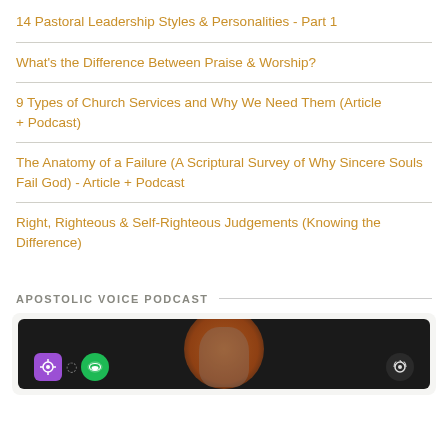14 Pastoral Leadership Styles & Personalities - Part 1
What's the Difference Between Praise & Worship?
9 Types of Church Services and Why We Need Them (Article + Podcast)
The Anatomy of a Failure (A Scriptural Survey of Why Sincere Souls Fail God) - Article + Podcast
Right, Righteous & Self-Righteous Judgements (Knowing the Difference)
APOSTOLIC VOICE PODCAST
[Figure (screenshot): Podcast app screenshot showing streaming platform icons (Apple Podcasts purple, Spotify green, and a podcast icon) on a dark background with an orange circle and silhouette graphic]